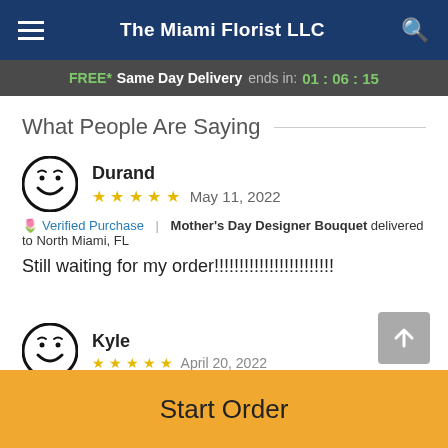The Miami Florist LLC
FREE* Same Day Delivery ends in: 01:06:15
What People Are Saying
Durand
★★★★★  May 11, 2022
🌷 Verified Purchase | Mother's Day Designer Bouquet delivered to North Miami, FL
Still waiting for my order!!!!!!!!!!!!!!!!!!!!!!!!
Kyle
April 20, 2022
Start Order